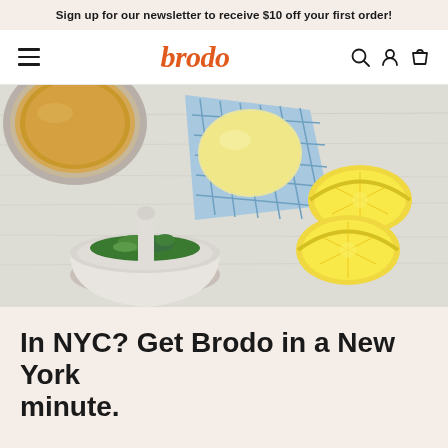Sign up for our newsletter to receive $10 off your first order!
brodo
[Figure (photo): Overhead flat-lay photo of cooking ingredients on a light gray surface: a bowl of golden broth (top left), a ball of butter on blue checkered cloth (center), a mortar and pestle with fresh herbs (bottom left), and two halved lemons (right).]
In NYC? Get Brodo in a New York minute.